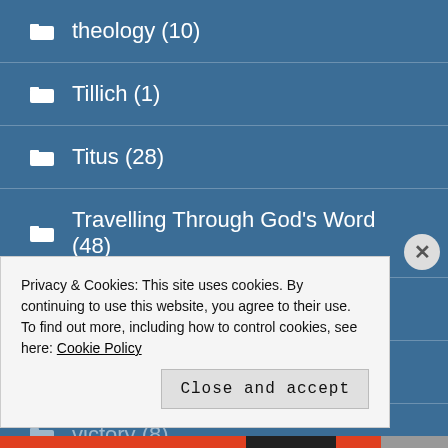theology (10)
Tillich (1)
Titus (28)
Travelling Through God's Word (48)
truth (3)
Universalism (3)
victory (8)
Privacy & Cookies: This site uses cookies. By continuing to use this website, you agree to their use.
To find out more, including how to control cookies, see here: Cookie Policy
Close and accept